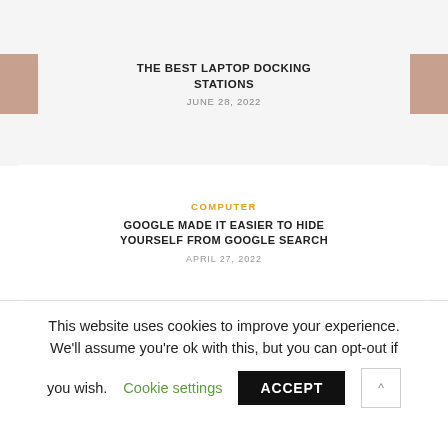THE BEST LAPTOP DOCKING STATIONS
JUNE 28, 2022
[Figure (screenshot): Google search page screenshot showing search query 'request to remove personal information from Google', with Google logo, search bar, Google Search and I'm Feeling Lucky buttons, and a partial keyboard in corner.]
COMPUTER
GOOGLE MADE IT EASIER TO HIDE YOURSELF FROM GOOGLE SEARCH
APRIL 27, 2022
This website uses cookies to improve your experience. We'll assume you're ok with this, but you can opt-out if you wish. Cookie settings ACCEPT